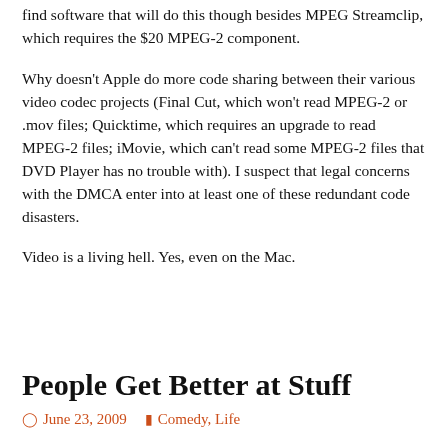find software that will do this though besides MPEG Streamclip, which requires the $20 MPEG-2 component.
Why doesn't Apple do more code sharing between their various video codec projects (Final Cut, which won't read MPEG-2 or .mov files; Quicktime, which requires an upgrade to read MPEG-2 files; iMovie, which can't read some MPEG-2 files that DVD Player has no trouble with). I suspect that legal concerns with the DMCA enter into at least one of these redundant code disasters.
Video is a living hell. Yes, even on the Mac.
People Get Better at Stuff
June 23, 2009   Comedy, Life